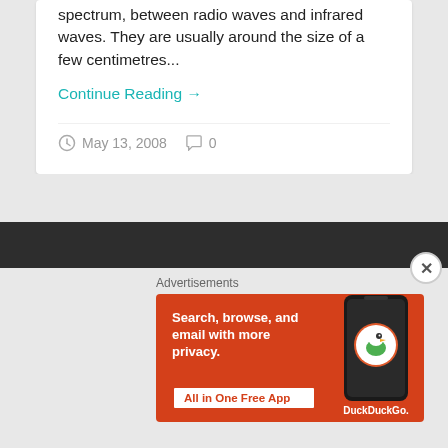spectrum, between radio waves and infrared waves. They are usually around the size of a few centimetres...
Continue Reading →
May 13, 2008   0
Advertisements
[Figure (illustration): DuckDuckGo advertisement banner with orange background. Left side shows text 'Search, browse, and email with more privacy. All in One Free App'. Right side shows a smartphone with the DuckDuckGo duck logo and text 'DuckDuckGo.']